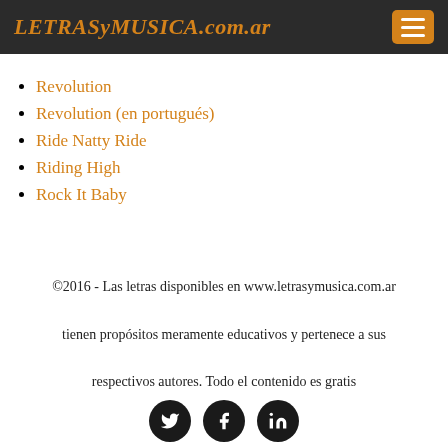LETRASyMUSICA.com.ar
Revolution
Revolution (en portugués)
Ride Natty Ride
Riding High
Rock It Baby
©2016 - Las letras disponibles en www.letrasymusica.com.ar tienen propósitos meramente educativos y pertenece a sus respectivos autores. Todo el contenido es gratis